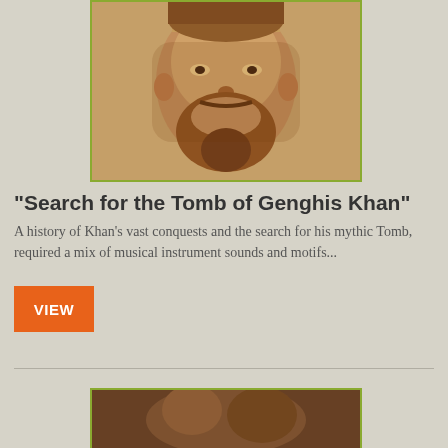[Figure (photo): A sepia-toned historical portrait or painting of a bearded man, likely depicting Genghis Khan, with a green border]
"Search for the Tomb of Genghis Khan"
A history of Khan's vast conquests and the search for his mythic Tomb, required a mix of musical instrument sounds and motifs...
VIEW
[Figure (photo): A partial photo of a person, with a green border, cropped at bottom of page]